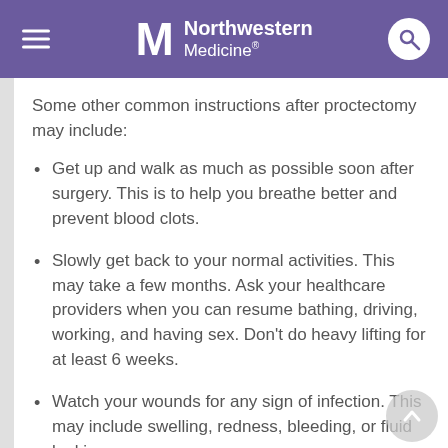Northwestern Medicine
Some other common instructions after proctectomy may include:
Get up and walk as much as possible soon after surgery. This is to help you breathe better and prevent blood clots.
Slowly get back to your normal activities. This may take a few months. Ask your healthcare providers when you can resume bathing, driving, working, and having sex. Don't do heavy lifting for at least 6 weeks.
Watch your wounds for any sign of infection. This may include swelling, redness, bleeding, or fluid leaking.